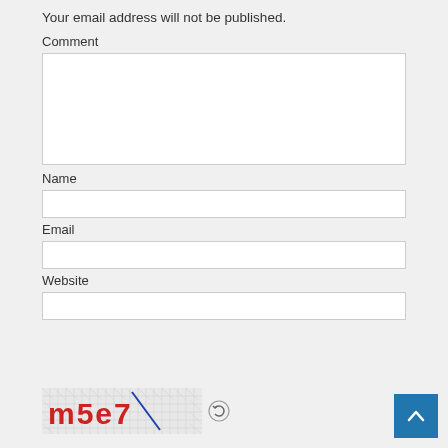Your email address will not be published.
Comment
Name
Email
Website
[Figure (other): CAPTCHA image showing text 'm5e7' with a diamond plate background in red letters, followed by a refresh icon circle]
[Figure (other): Back to top button: blue square with white upward chevron arrow]